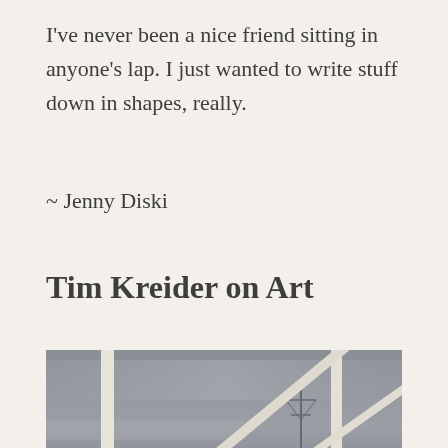I've never been a nice friend sitting in anyone's lap. I just wanted to write stuff down in shapes, really.
~ Jenny Diski
Tim Kreider on Art
[Figure (photo): Photograph taken through a white-framed window or structure, showing an overcast grey sky with electric pylons in the background and a dark treeline at the horizon. The white frame elements are visible in the foreground creating geometric divisions across the image.]